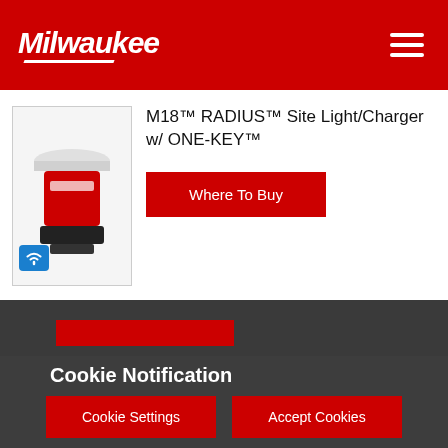Milwaukee Tool
M18™ RADIUS™ Site Light/Charger w/ ONE-KEY™
Where To Buy
Cookie Notification
This website uses cookies to enhance user experience and to analyze performance and traffic on our website. Information collected regarding your use of our site may also be shared with our social media, advertising, and analytics partners. For further details, please review our Privacy Policy
Cookie Settings
Accept Cookies